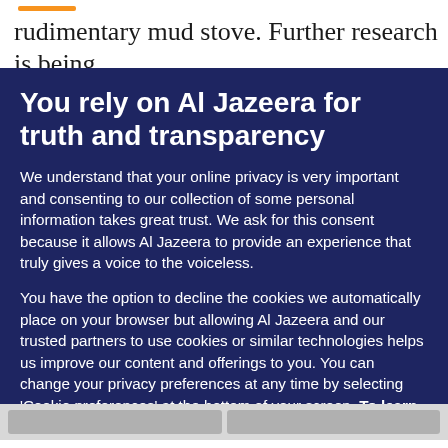rudimentary mud stove. Further research is being conducted to understand the extent to which (and
You rely on Al Jazeera for truth and transparency
We understand that your online privacy is very important and consenting to our collection of some personal information takes great trust. We ask for this consent because it allows Al Jazeera to provide an experience that truly gives a voice to the voiceless.
You have the option to decline the cookies we automatically place on your browser but allowing Al Jazeera and our trusted partners to use cookies or similar technologies helps us improve our content and offerings to you. You can change your privacy preferences at any time by selecting 'Cookie preferences' at the bottom of your screen. To learn more, please view our Cookie Policy.